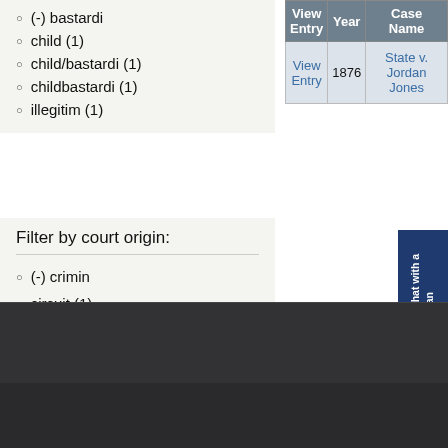(-) bastardi
child (1)
child/bastardi (1)
childbastardi (1)
illegitim (1)
| View Entry | Year | Case Name |
| --- | --- | --- |
| View Entry | 1876 | State v. Jordan Jones |
Filter by court origin:
(-) crimin
circuit (1)
Click Here to Chat with a Librarian